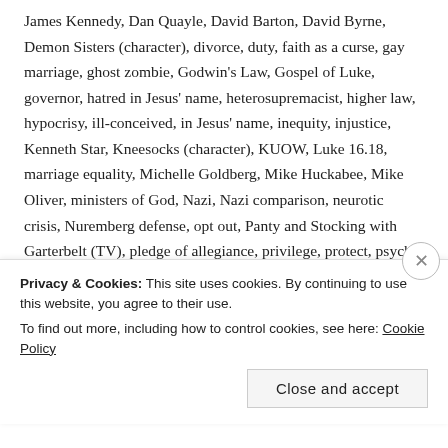James Kennedy, Dan Quayle, David Barton, David Byrne, Demon Sisters (character), divorce, duty, faith as a curse, gay marriage, ghost zombie, Godwin's Law, Gospel of Luke, governor, hatred in Jesus' name, heterosupremacist, higher law, hypocrisy, ill-conceived, in Jesus' name, inequity, injustice, Kenneth Star, Kneesocks (character), KUOW, Luke 16.18, marriage equality, Michelle Goldberg, Mike Huckabee, Mike Oliver, ministers of God, Nazi, Nazi comparison, neurotic crisis, Nuremberg defense, opt out, Panty and Stocking with Garterbelt (TV), pledge of allegiance, privilege, protect, psyche, public officials, punish, Rand Paul, Rand Paul 2016, Rand Paul Show, rebellion, Reclaiming America for Christ, religious conscience, religious freedom, remarriage, Revised Standard Version (RSV), Rick Scarborough, right to discriminate, right to harm, righteous, Robert Bentley, Roy Moore, rule of law, same sex
Privacy & Cookies: This site uses cookies. By continuing to use this website, you agree to their use. To find out more, including how to control cookies, see here: Cookie Policy
Close and accept